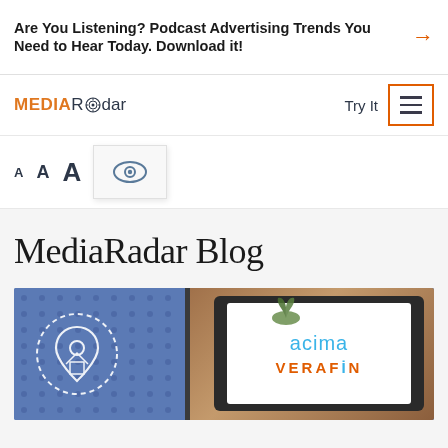Are You Listening? Podcast Advertising Trends You Need to Hear Today. Download it!
[Figure (logo): MediaRadar logo with orange MEDIA and dark Radar text]
Try It
[Figure (screenshot): Hamburger menu icon inside orange-bordered box]
[Figure (infographic): Font size selector with A A A in three sizes and an eye icon box]
MediaRadar Blog
[Figure (photo): Article thumbnail showing a tablet on a wooden desk with blue dotted background. Tablet screen shows acima and VERAFIN logos. Left side shows a white house/location pin icon outline.]